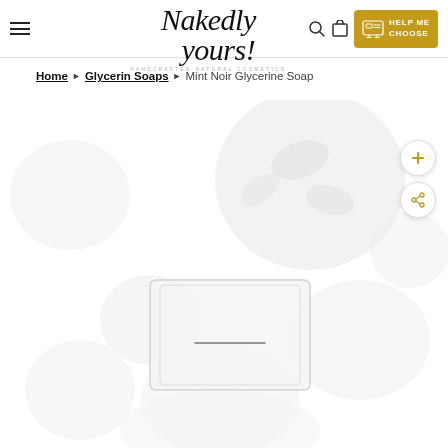Nakedly Yours — handcrafted natural cosmetics
Home › Glycerin Soaps › Mint Noir Glycerine Soap
[Figure (photo): Product photo area showing Mint Noir Glycerine Soap bars with floral background, partially faded/ghosted display with zoom and share action buttons on the right]